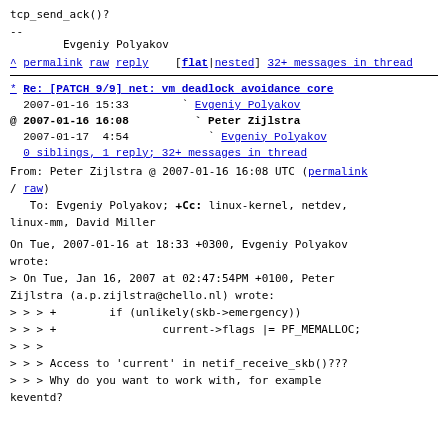tcp_send_ack()?
--
        Evgeniy Polyakov
^ permalink raw reply  [flat|nested]  32+ messages in thread
* Re: [PATCH 9/9] net: vm deadlock avoidance core
  2007-01-16 15:33        ` Evgeniy Polyakov
@ 2007-01-16 16:08          ` Peter Zijlstra
  2007-01-17  4:54            ` Evgeniy Polyakov
  0 siblings, 1 reply; 32+ messages in thread
From: Peter Zijlstra @ 2007-01-16 16:08 UTC (permalink / raw)
   To: Evgeniy Polyakov; +Cc: linux-kernel, netdev, linux-mm, David Miller
On Tue, 2007-01-16 at 18:33 +0300, Evgeniy Polyakov
wrote:
> On Tue, Jan 16, 2007 at 02:47:54PM +0100, Peter
Zijlstra (a.p.zijlstra@chello.nl) wrote:
> > > +        if (unlikely(skb->emergency))
> > > +                current->flags |= PF_MEMALLOC;
> > >
> > > Access to 'current' in netif_receive_skb()???
> > > Why do you want to work with, for example
keventd?